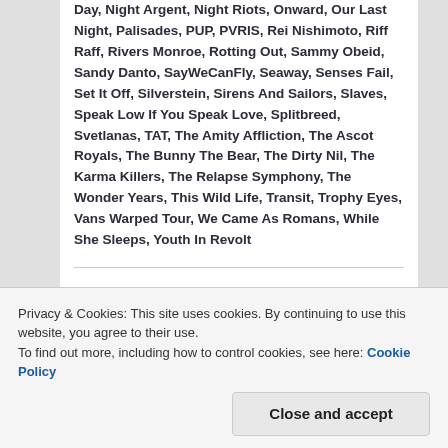Day, Night Argent, Night Riots, Onward, Our Last Night, Palisades, PUP, PVRIS, Rei Nishimoto, Riff Raff, Rivers Monroe, Rotting Out, Sammy Obeid, Sandy Danto, SayWeCanFly, Seaway, Senses Fail, Set It Off, Silverstein, Sirens And Sailors, Slaves, Speak Low If You Speak Love, Splitbreed, Svetlanas, TAT, The Amity Affliction, The Ascot Royals, The Bunny The Bear, The Dirty Nil, The Karma Killers, The Relapse Symphony, The Wonder Years, This Wild Life, Transit, Trophy Eyes, Vans Warped Tour, We Came As Romans, While She Sleeps, Youth In Revolt
Senses Fail, Miss May I, etc Confirmed For Vans
Privacy & Cookies: This site uses cookies. By continuing to use this website, you agree to their use. To find out more, including how to control cookies, see here: Cookie Policy